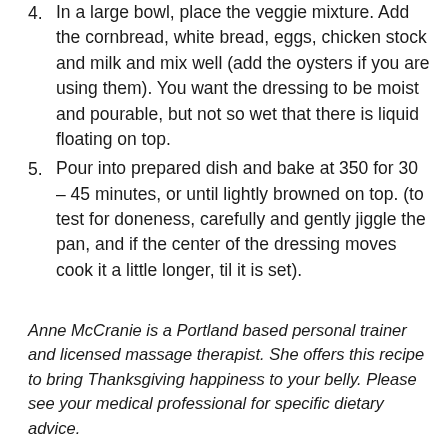4. In a large bowl, place the veggie mixture. Add the cornbread, white bread, eggs, chicken stock and milk and mix well (add the oysters if you are using them). You want the dressing to be moist and pourable, but not so wet that there is liquid floating on top.
5. Pour into prepared dish and bake at 350 for 30 – 45 minutes, or until lightly browned on top. (to test for doneness, carefully and gently jiggle the pan, and if the center of the dressing moves cook it a little longer, til it is set).
Anne McCranie is a Portland based personal trainer and licensed massage therapist. She offers this recipe to bring Thanksgiving happiness to your belly. Please see your medical professional for specific dietary advice.